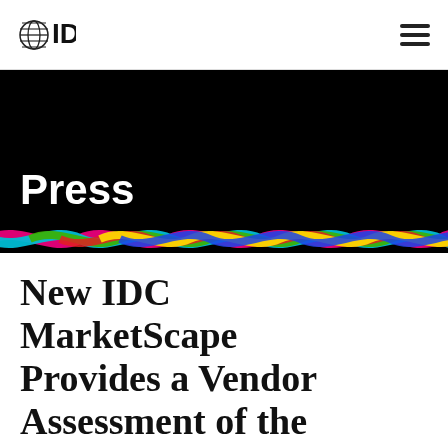IDG
[Figure (logo): IDG logo with globe/stripes icon on left and hamburger menu icon on right]
Press
[Figure (illustration): Colorful wavy ribbon decoration strip in magenta, cyan, green, red, yellow, blue colors on black background]
New IDC MarketScape Provides a Vendor Assessment of the Worldwide